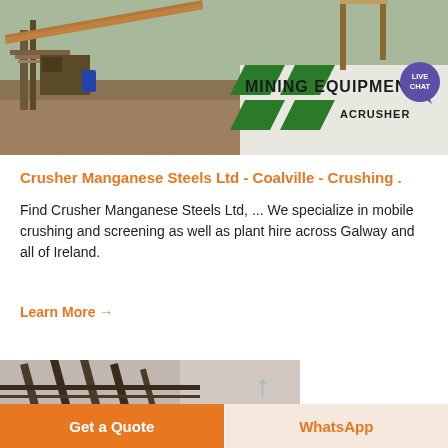[Figure (photo): Aerial view of a mining/crushing plant operation with orange metal conveyor structures and machinery, with a banner reading MINING EQUIPMENT ACRUSHER in the lower right portion of the image.]
Crusher Manganese Steels Ltd - Coalville - Crushing .
Find Crusher Manganese Steels Ltd, ... We specialize in mobile crushing and screening as well as plant hire across Galway and all of Ireland.
Learn More →
[Figure (photo): Partial view of industrial metal framework/structure, dark colored, partially visible at the bottom of the page.]
Get a Quote
WhatsApp